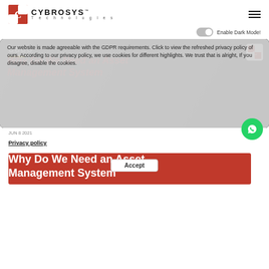CYBROSYS Technologies
Enable Dark Mode!
[Figure (screenshot): Cybrosys blog page screenshot showing a hero banner with odoo logo and article title 'Why Do We Need an Asset Management System' overlaid with a GDPR cookie consent popup and a WhatsApp floating button]
Our website is made agreeable with the GDPR requirements. Click to view the refreshed privacy policy of ours. According to our privacy policy, we use cookies for different highlights. We trust that is alright, If you disagree, disable the cookies.
JUN 8 2021
Privacy policy
Why Do We Need an Asset Management System